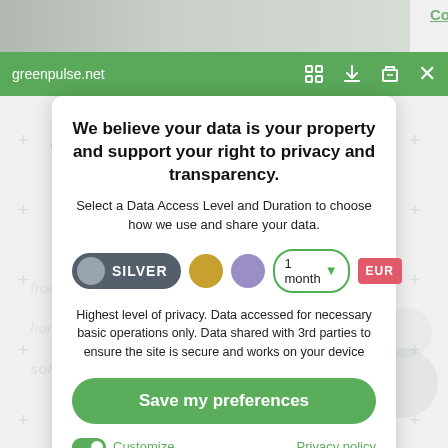[Figure (screenshot): Cookie consent / privacy preference modal overlay on a website (greenpulse.net). Green top navigation bar showing URL and icons. Modal with title, privacy level selector (Silver, Gold, Purple tiers), 1 month duration dropdown, EUR badge, description text, Save my preferences button, Customize toggle and Privacy policy link.]
greenpulse.net
We believe your data is your property and support your right to privacy and transparency.
Select a Data Access Level and Duration to choose how we use and share your data.
SILVER   1 month   EUR
Highest level of privacy. Data accessed for necessary basic operations only. Data shared with 3rd parties to ensure the site is secure and works on your device
Save my preferences
Customize
Privacy policy